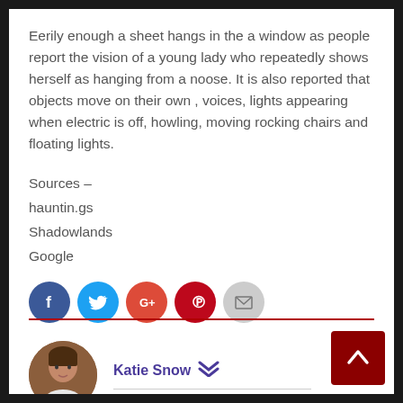Eerily enough a sheet hangs in the a window as people report the vision of a young lady who repeatedly shows herself as hanging from a noose. It is also reported that objects move on their own , voices, lights appearing when electric is off, howling, moving rocking chairs and floating lights.
Sources –
hauntin.gs
Shadowlands
Google
[Figure (infographic): Social sharing icons: Facebook (blue circle), Twitter (light blue circle), Google+ (orange-red circle), Pinterest (red circle), Email (gray circle)]
[Figure (photo): Author avatar photo of Katie Snow — circular portrait photo of a woman]
Katie Snow